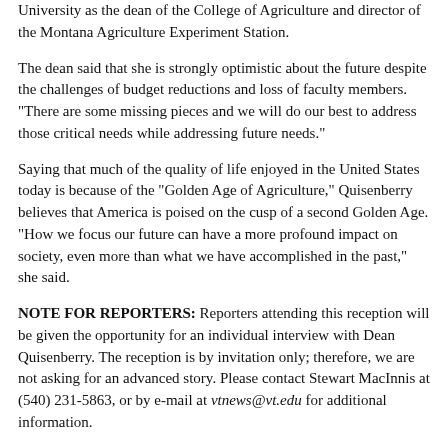University as the dean of the College of Agriculture and director of the Montana Agriculture Experiment Station.
The dean said that she is strongly optimistic about the future despite the challenges of budget reductions and loss of faculty members. "There are some missing pieces and we will do our best to address those critical needs while addressing future needs."
Saying that much of the quality of life enjoyed in the United States today is because of the "Golden Age of Agriculture," Quisenberry believes that America is poised on the cusp of a second Golden Age. "How we focus our future can have a more profound impact on society, even more than what we have accomplished in the past," she said.
NOTE FOR REPORTERS: Reporters attending this reception will be given the opportunity for an individual interview with Dean Quisenberry. The reception is by invitation only; therefore, we are not asking for an advanced story. Please contact Stewart MacInnis at (540) 231-5863, or by e-mail at vtnews@vt.edu for additional information.
Stewart MacInnis
(540) 231-5396
vtnews@vt.edu